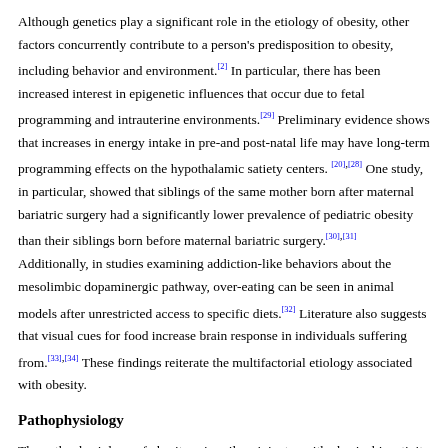Although genetics play a significant role in the etiology of obesity, other factors concurrently contribute to a person's predisposition to obesity, including behavior and environment.[2] In particular, there has been increased interest in epigenetic influences that occur due to fetal programming and intrauterine environments.[29] Preliminary evidence shows that increases in energy intake in pre-and post-natal life may have long-term programming effects on the hypothalamic satiety centers.[20],[28] One study, in particular, showed that siblings of the same mother born after maternal bariatric surgery had a significantly lower prevalence of pediatric obesity than their siblings born before maternal bariatric surgery.[30],[31] Additionally, in studies examining addiction-like behaviors about the mesolimbic dopaminergic pathway, over-eating can be seen in animal models after unrestricted access to specific diets.[32] Literature also suggests that visual cues for food increase brain response in individuals suffering from.[33],[34] These findings reiterate the multifactorial etiology associated with obesity.
Pathophysiology
The pathophysiology of obesity primarily originates with physical inactivity and